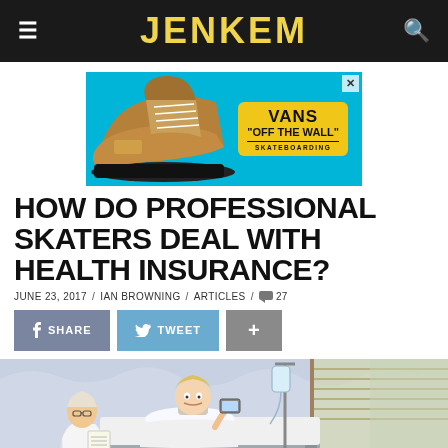JENKEM
[Figure (illustration): Vans shoes advertisement banner with a brown high-top shoe on cyan background and yellow Vans 'Off The Wall' Skateboarding badge]
HOW DO PROFESSIONAL SKATERS DEAL WITH HEALTH INSURANCE?
JUNE 23, 2017 / IAN BROWNING / ARTICLES / 27
SHARE   TWEET   +
[Figure (illustration): Cartoon illustration of a young skater in a hospital bed with a neck brace, an older man with glasses reading a paper beside the bed, and a window with blinds in the background]